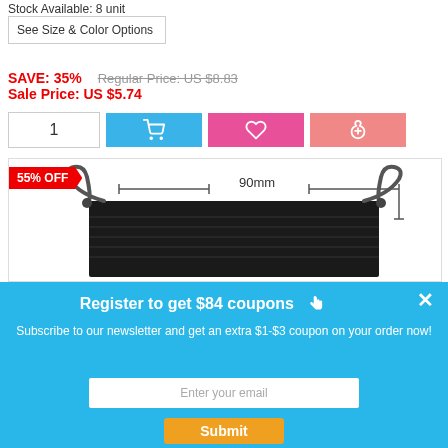Stock Available: 8 unit
See Size & Color Options
SAVE: 35%   Regular Price: US $8.83
Sale Price: US $5.74
[Figure (screenshot): E-commerce product page showing a black velvet drawstring pouch with 90mm dimension annotation, quantity input, add-to-cart button, wishlist button, and coin/coupon button]
Register to get $84 coupons
Subscribe to our newsletter and get an extra $1-$3 coupon on your order now!
Enter your email
Submit